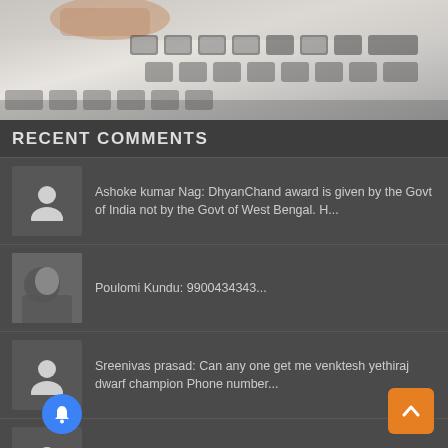[Figure (photo): Close-up photo of a hand pressing keys on a keyboard]
RECENT COMMENTS
Ashoke kumar Nag: DhyanChand award is given by the Govt of India not by the Govt of West Bengal. H...
Poulomi Kundu: 9900434343...
Sreenivas prasad: Can any one get me venktesh yethiraj dwarf champion Phone number...
Sudarshan Kalike: Good...
SUBIR BANERJI: Really enjoyed reading the nice article by Sunil Valavalkar. I just came across...